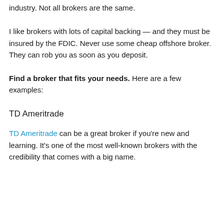industry. Not all brokers are the same.
I like brokers with lots of capital backing — and they must be insured by the FDIC. Never use some cheap offshore broker. They can rob you as soon as you deposit.
Find a broker that fits your needs. Here are a few examples:
TD Ameritrade
TD Ameritrade can be a great broker if you're new and learning. It's one of the most well-known brokers with the credibility that comes with a big name.